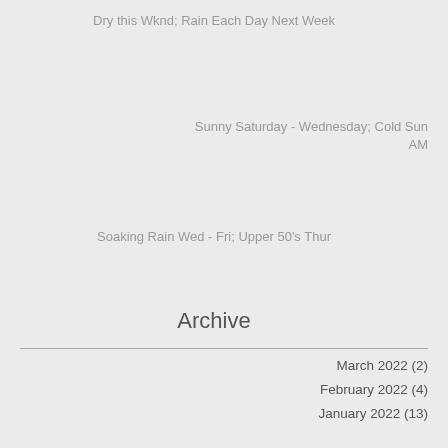Dry this Wknd; Rain Each Day Next Week
Sunny Saturday - Wednesday; Cold Sun AM
Soaking Rain Wed - Fri; Upper 50's Thur
Archive
March 2022 (2)
February 2022 (4)
January 2022 (13)